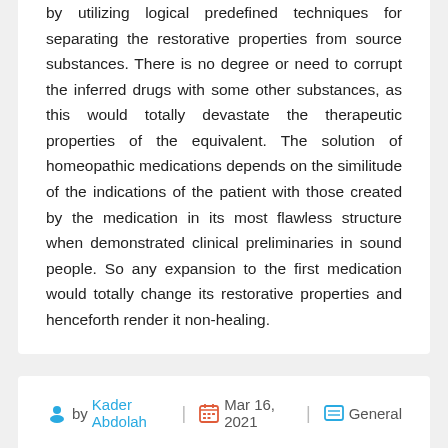by utilizing logical predefined techniques for separating the restorative properties from source substances. There is no degree or need to corrupt the inferred drugs with some other substances, as this would totally devastate the therapeutic properties of the equivalent. The solution of homeopathic medications depends on the similitude of the indications of the patient with those created by the medication in its most flawless structure when demonstrated clinical preliminaries in sound people. So any expansion to the first medication would totally change its restorative properties and henceforth render it non-healing.
by Kader Abdolah | Mar 16, 2021 | General
Retractable Patio Awning Add